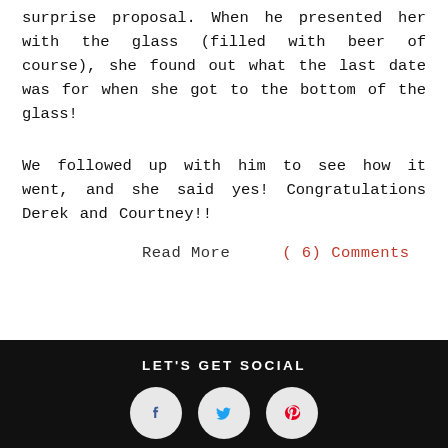surprise proposal. When he presented her with the glass (filled with beer of course), she found out what the last date was for when she got to the bottom of the glass!
We followed up with him to see how it went, and she said yes! Congratulations Derek and Courtney!!
Read More    ( 6)  Comments
LET'S GET SOCIAL